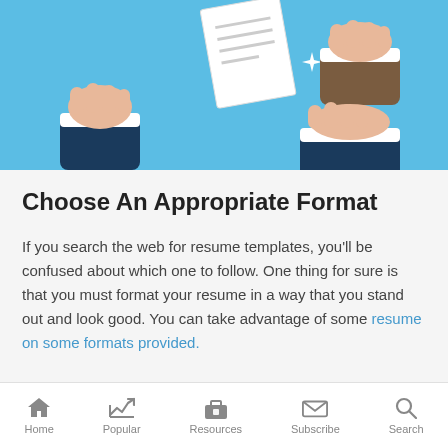[Figure (illustration): Illustration of multiple hands exchanging a document/resume against a light blue background. One hand in a dark suit sleeve passes a white paper with lines, another hand in a white cuff reaches for it, on a sky-blue background with a sparkle graphic.]
Choose An Appropriate Format
If you search the web for resume templates, you'll be confused about which one to follow. One thing for sure is that you must format your resume in a way that you stand out and look good. You can take advantage of some resume on some formats provided.
Home  Popular  Resources  Subscribe  Search